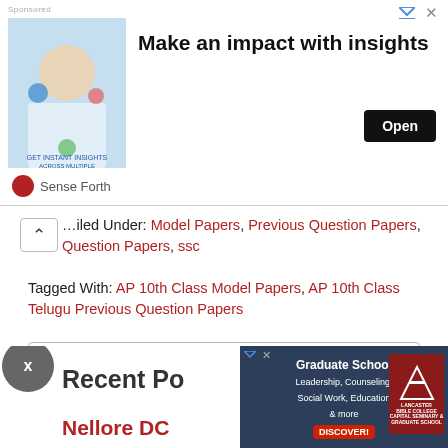[Figure (screenshot): Advertisement banner: 'Make an impact with insights' with Open button, Sense Forth branding, and an image of a person with digital channel icons.]
Filed Under: Model Papers, Previous Question Papers, Question Papers, ssc
Tagged With: AP 10th Class Model Papers, AP 10th Class Telugu Previous Question Papers
Search this website
Recent Po
Nellore DC
Nellore
[Figure (screenshot): Advertisement for Lancaster Bible College Graduate School: Leadership, Counseling, Social Work, Education & more. DISCOVER! button shown.]